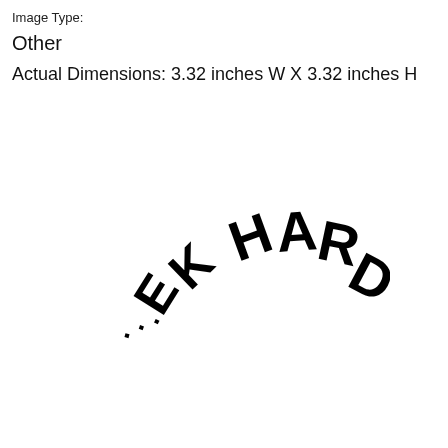Image Type:
Other
Actual Dimensions: 3.32 inches W X 3.32 inches H
[Figure (other): Curved text arranged in an arc reading '...EK HARD' with letters rotated along a circular arc path, bold black sans-serif font on white background]